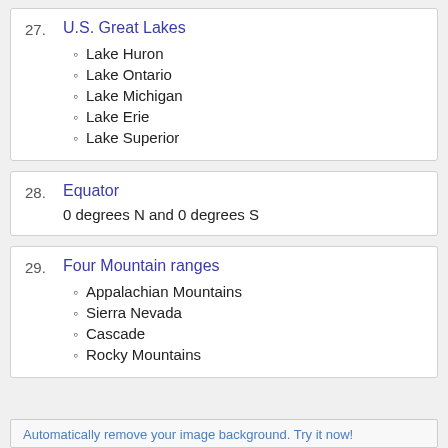27. U.S. Great Lakes
Lake Huron
Lake Ontario
Lake Michigan
Lake Erie
Lake Superior
28. Equator
0 degrees N and 0 degrees S
29. Four Mountain ranges
Appalachian Mountains
Sierra Nevada
Cascade
Rocky Mountains
Automatically remove your image background. Try it now!